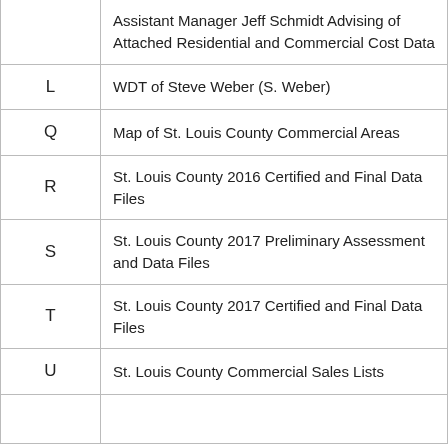| Exhibit | Description |
| --- | --- |
|  | Assistant Manager Jeff Schmidt Advising of Attached Residential and Commercial Cost Data |
| L | WDT of Steve Weber (S. Weber) |
| Q | Map of St. Louis County Commercial Areas |
| R | St. Louis County 2016 Certified and Final Data Files |
| S | St. Louis County 2017 Preliminary Assessment and Data Files |
| T | St. Louis County 2017 Certified and Final Data Files |
| U | St. Louis County Commercial Sales Lists |